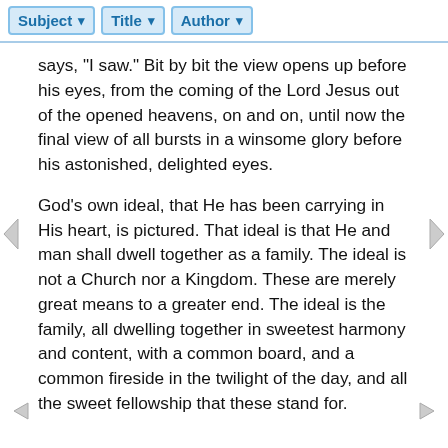Subject | Title | Author
says, "I saw." Bit by bit the view opens up before his eyes, from the coming of the Lord Jesus out of the opened heavens, on and on, until now the final view of all bursts in a winsome glory before his astonished, delighted eyes.
God's own ideal, that He has been carrying in His heart, is pictured. That ideal is that He and man shall dwell together as a family. The ideal is not a Church nor a Kingdom. These are merely great means to a greater end. The ideal is the family, all dwelling together in sweetest harmony and content, with a common board, and a common fireside in the twilight of the day, and all the sweet fellowship that these stand for.
John sees a new heaven and a new earth, the old heaven and earth gone, and with them the